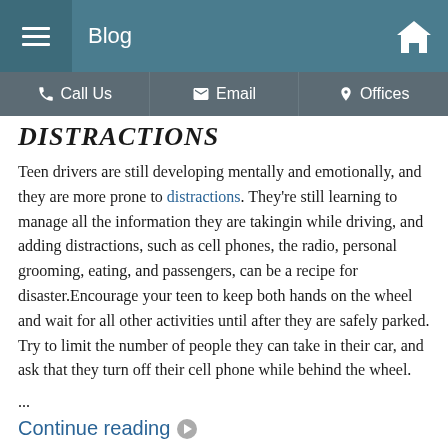Blog
DISTRACTIONS
Teen drivers are still developing mentally and emotionally, and they are more prone to distractions. They're still learning to manage all the information they are takingin while driving, and adding distractions, such as cell phones, the radio, personal grooming, eating, and passengers, can be a recipe for disaster.Encourage your teen to keep both hands on the wheel and wait for all other activities until after they are safely parked. Try to limit the number of people they can take in their car, and ask that they turn off their cell phone while behind the wheel.
...
Continue reading